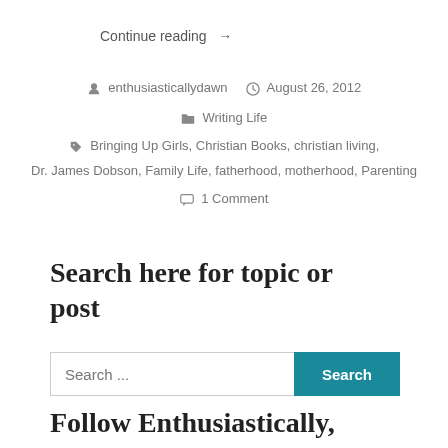Continue reading →
enthusiasticallydawn   August 26, 2012
Writing Life
Bringing Up Girls, Christian Books, christian living,
Dr. James Dobson, Family Life, fatherhood, motherhood, Parenting
1 Comment
Search here for topic or post
Search ...
Follow Enthusiastically, Dawn